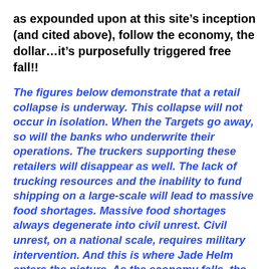as expounded upon at this site's inception (and cited above), follow the economy, the dollar…it's purposefully triggered free fall!!
The figures below demonstrate that a retail collapse is underway. This collapse will not occur in isolation. When the Targets go away, so will the banks who underwrite their operations. The truckers supporting these retailers will disappear as well. The lack of trucking resources and the inability to fund shipping on a large-scale will lead to massive food shortages. Massive food shortages always degenerate into civil unrest. Civil unrest, on a national scale, requires military intervention. And this is where Jade Helm enters the picture. As the economy falls, the need for Jade Helm martial law enforcement will rise.